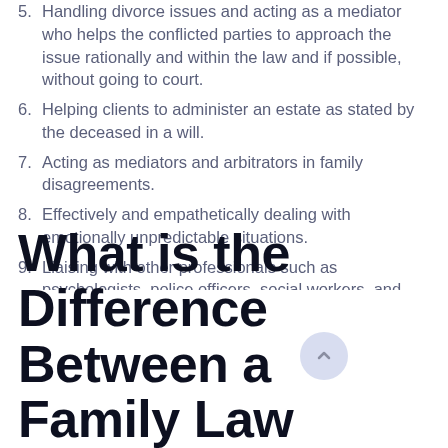5. Handling divorce issues and acting as a mediator who helps the conflicted parties to approach the issue rationally and within the law and if possible, without going to court.
6. Helping clients to administer an estate as stated by the deceased in a will.
7. Acting as mediators and arbitrators in family disagreements.
8. Effectively and empathetically dealing with emotionally unpredictable situations.
9. Liaising with other professionals such as psychologists, police officers, social workers, and doctors.
What is the Difference Between a Family Law